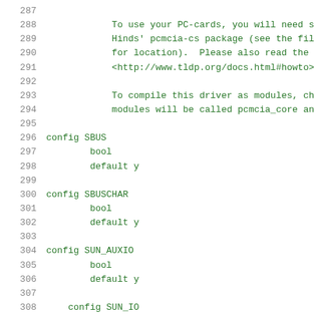287
288     To use your PC-cards, you will need s
289     Hinds' pcmcia-cs package (see the fil
290     for location).  Please also read the 
291     <http://www.tldp.org/docs.html#howto>
292
293     To compile this driver as modules, ch
294     modules will be called pcmcia_core an
295
296 config SBUS
297         bool
298         default y
299
300 config SBUSCHAR
301         bool
302         default y
303
304 config SUN_AUXIO
305         bool
306         default y
307
308     config SUN_IO